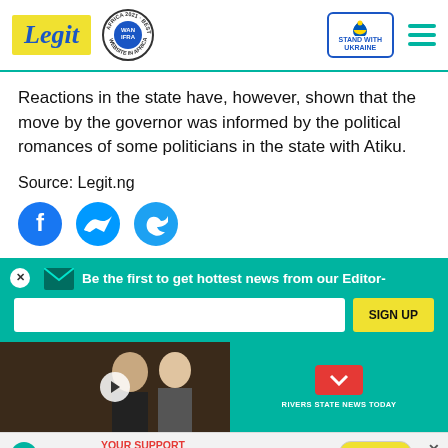Legit | WAN IFRA 2021 Best News Website in Africa | Stand with Ukraine
Reactions in the state have, however, shown that the move by the governor was informed by the political romances of some politicians in the state with Atiku.
Source: Legit.ng
[Figure (infographic): Social media share icons: Facebook, Messenger, Twitter]
[Figure (infographic): Newsletter signup banner: Be the first to get hottest news from our Editor- with email input and SIGN UP button]
[Figure (photo): Video thumbnail with text I WANT TO BE HAPPY and two people, with play button overlay. Rivers State News Today chevron.]
[Figure (infographic): Legit Charity banner: YOUR SUPPORT MATTERS! SAVE THE LIFE OF GIRL AT RISK with Donate now button]